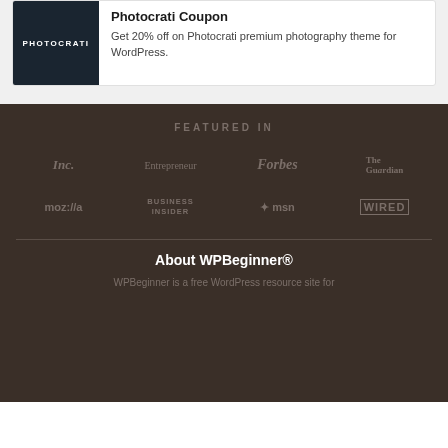[Figure (logo): Photocrati logo — white text on dark navy background]
Photocrati Coupon
Get 20% off on Photocrati premium photography theme for WordPress.
FEATURED IN
[Figure (logo): Grid of media logos: Inc., Entrepreneur, Forbes, The Guardian, moz://a, Business Insider, msn, WIRED]
About WPBeginner®
WPBeginner is a free WordPress resource site for